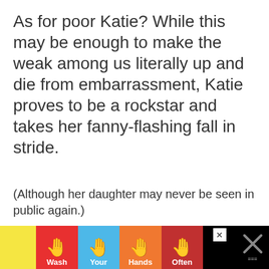As for poor Katie? While this may be enough to make the weak among us literally up and die from embarrassment, Katie proves to be a rockstar and takes her fanny-flashing fall in stride.
(Although her daughter may never be seen in public again.)
[Figure (other): Advertisement banner at the bottom showing 'Wash Your Hands Often' with hand washing emoji icons on colored tiles (yellow, red, blue, orange, dark red/maroon), with close buttons on the right side, on a black background.]